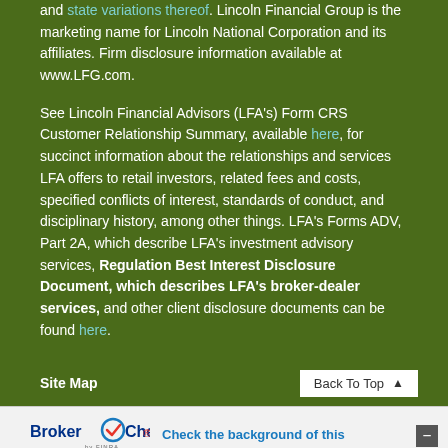and state variations thereof. Lincoln Financial Group is the marketing name for Lincoln National Corporation and its affiliates. Firm disclosure information available at www.LFG.com.
See Lincoln Financial Advisors (LFA's) Form CRS Customer Relationship Summary, available here, for succinct information about the relationships and services LFA offers to retail investors, related fees and costs, specified conflicts of interest, standards of conduct, and disciplinary history, among other things. LFA's Forms ADV, Part 2A, which describe LFA's investment advisory services, Regulation Best Interest Disclosure Document, which describes LFA's broker-dealer services, and other client disclosure documents can be found here.
Site Map
Back To Top
[Figure (logo): BrokerCheck by FINRA logo with circular check mark graphic]
Check the background of this